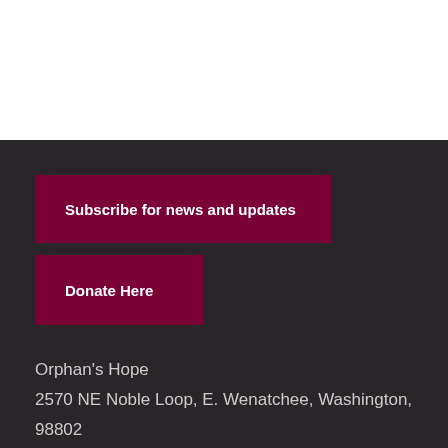Subscribe for news and updates
Donate Here
Orphan's Hope
2570 NE Noble Loop, E. Wenatchee, Washington, 98802